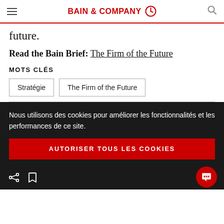BAIN & COMPANY
future.
Read the Bain Brief: The Firm of the Future
MOTS CLÉS
Stratégie
The Firm of the Future
Nous utilisons des cookies pour améliorer les fonctionnalités et les performances de ce site.
AUTORISER TOUS LES COOKIES